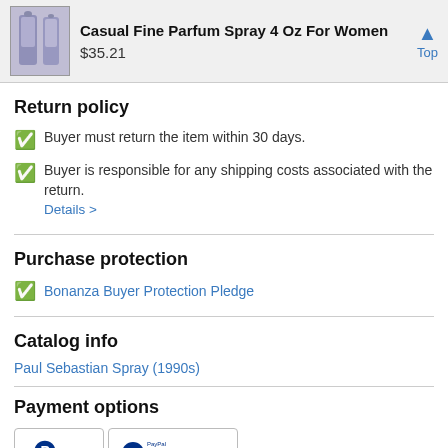Casual Fine Parfum Spray 4 Oz For Women $35.21
Return policy
Buyer must return the item within 30 days.
Buyer is responsible for any shipping costs associated with the return. Details >
Purchase protection
Bonanza Buyer Protection Pledge
Catalog info
Paul Sebastian Spray (1990s)
Payment options
[Figure (logo): PayPal and PayPal Credit payment method logos]